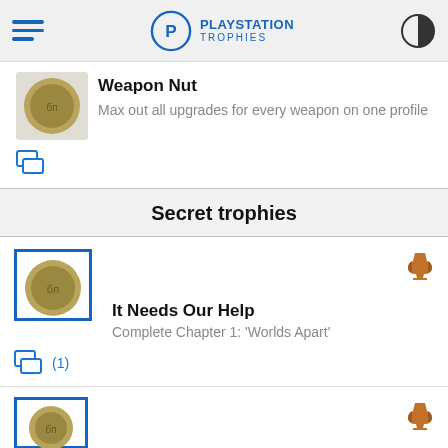PLAYSTATION TROPHIES
Weapon Nut
Max out all upgrades for every weapon on one profile
Secret trophies
It Needs Our Help
Complete Chapter 1: 'Worlds Apart'
(1)